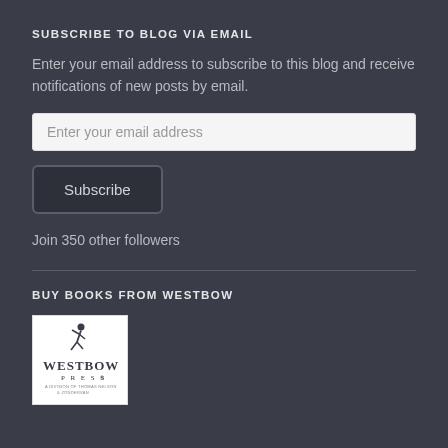SUBSCRIBE TO BLOG VIA EMAIL
Enter your email address to subscribe to this blog and receive notifications of new posts by email.
Enter your email address
Subscribe
Join 350 other followers
BUY BOOKS FROM WESTBOW
[Figure (logo): WestBow Press logo — a division of Thomas Nelson & Zondervan]